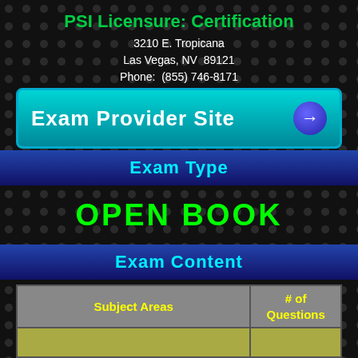PSI Licensure: Certification
3210 E. Tropicana
Las Vegas, NV  89121
Phone:  (855) 746-8171
[Figure (other): Exam Provider Site button with teal background and right-arrow circle]
Exam Type
OPEN  BOOK
Exam Content
| Subject Areas | # of Questions |
| --- | --- |
|  |  |